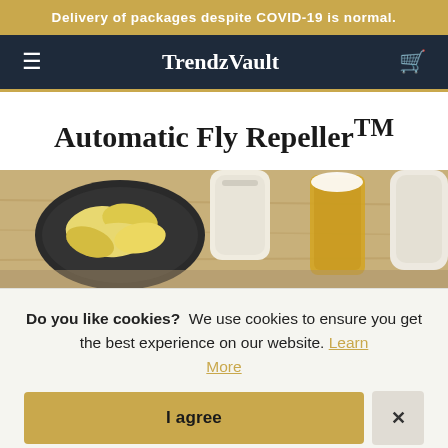Delivery of packages despite COVID-19 is normal.
TrendzVault
Automatic Fly Repeller™
[Figure (photo): Overhead view of food items on a table including a bowl of chips/crisps, a glass of beer, and other snacks on a wooden surface]
Do you like cookies?  We use cookies to ensure you get the best experience on our website. Learn More
[Figure (screenshot): Cookie consent buttons: 'I agree' button and a close (×) button]